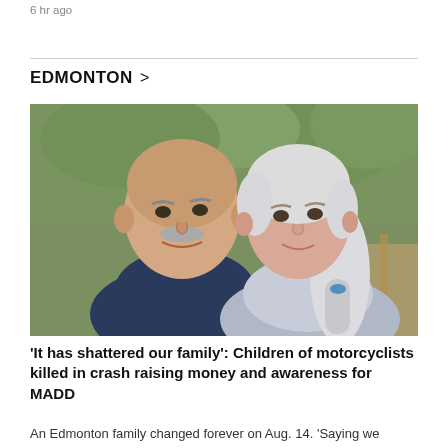6 hr ago
EDMONTON >
[Figure (photo): A smiling middle-aged couple posing together outdoors. The man on the left has a shaved head and grey mustache wearing a dark blue t-shirt. The woman on the right has long grey-white hair pulled back, smiling gently. Green trees visible in background.]
'It has shattered our family': Children of motorcyclists killed in crash raising money and awareness for MADD
An Edmonton family changed forever on Aug. 14. 'Saying we